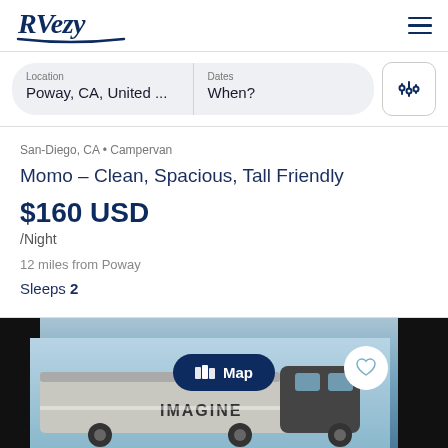[Figure (logo): RVezy logo in dark navy italic script font with underline swoosh]
Location
Poway, CA, United ...
Dates
When?
San-Diego, CA • Campervan
Momo – Clean, Spacious, Tall Friendly
$160 USD
/Night
12 miles from Poway
Sleeps 2
[Figure (photo): RV / trailer vehicle photo with IMAGINE branding, map button overlay and heart button, dark edges]